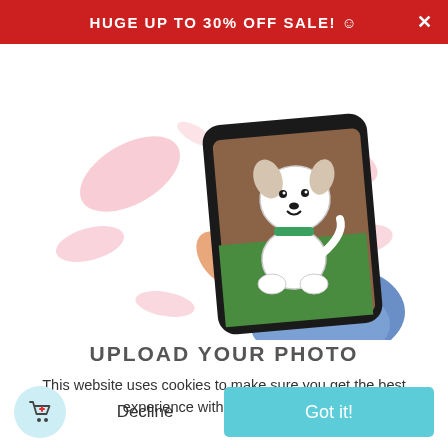Huge Up To 30% Off Sale! ☺
[Figure (illustration): Cartoon illustration of a hand holding a smartphone displaying a white dog with a green collar sitting on grass, with pink paint splatter accents in background]
Upload Your Photo
This website uses cookies to make sure you get the best experience with us. Learn more
Decline
Got it!